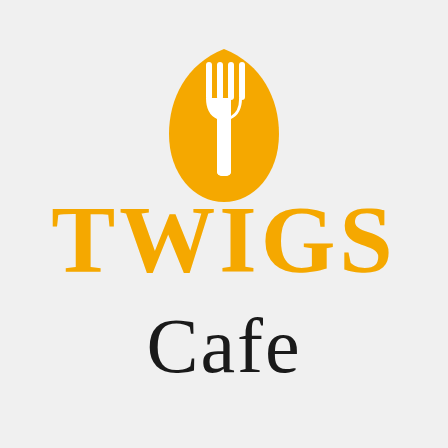[Figure (logo): Twigs Cafe logo: a golden/amber teardrop-shaped icon with a white fork silhouette inside, above bold golden serif text 'TWIGS' and cursive script text 'Cafe' in black]